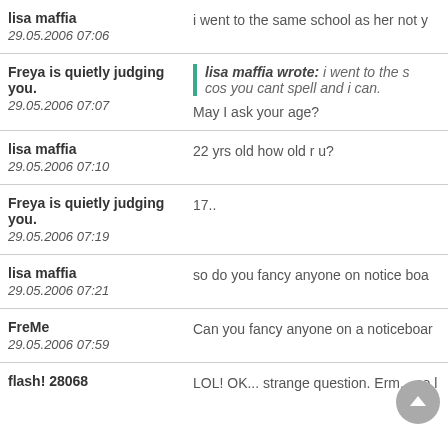lisa maffia
29.05.2006 07:06
i went to the same school as her not y
Freya is quietly judging you.
29.05.2006 07:07
lisa maffia wrote: i went to the s... cos you cant spell and i can.
May I ask your age?
lisa maffia
29.05.2006 07:10
22 yrs old how old r u?
Freya is quietly judging you.
29.05.2006 07:19
17..
lisa maffia
29.05.2006 07:21
so do you fancy anyone on notice boa
FreMe
29.05.2006 07:59
Can you fancy anyone on a noticeboar
flash! 28068
LOL! OK... strange question. Erm... so l